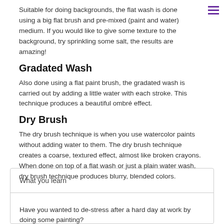Suitable for doing backgrounds, the flat wash is done using a big flat brush and pre-mixed (paint and water) medium. If you would like to give some texture to the background, try sprinkling some salt, the results are amazing!
Gradated Wash
Also done using a flat paint brush, the gradated wash is carried out by adding a little water with each stroke. This technique produces a beautiful ombré effect.
Dry Brush
The dry brush technique is when you use watercolor paints without adding water to them. The dry brush technique creates a coarse, textured effect, almost like broken crayons. When done on top of a flat wash or just a plain water wash, dry brush technique produces blurry, blended colors.
What you learn
Have you wanted to de-stress after a hard day at work by doing some painting?